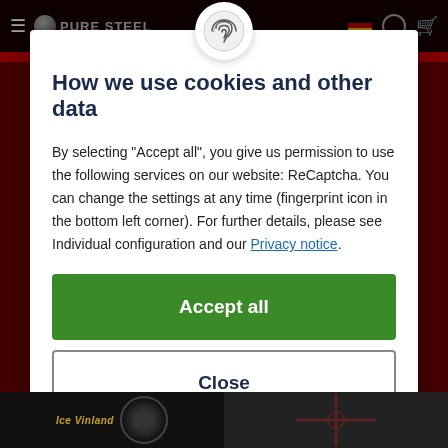[Figure (screenshot): Website navigation bar with hamburger menu, Pure Steel logo, fingerprint icon, German flag, user icon, and cart icon on dark background]
How we use cookies and other data
By selecting "Accept all", you give us permission to use the following services on our website: ReCaptcha. You can change the settings at any time (fingerprint icon in the bottom left corner). For further details, please see Individual configuration and our Privacy notice.
Accept all
Close
Configuration